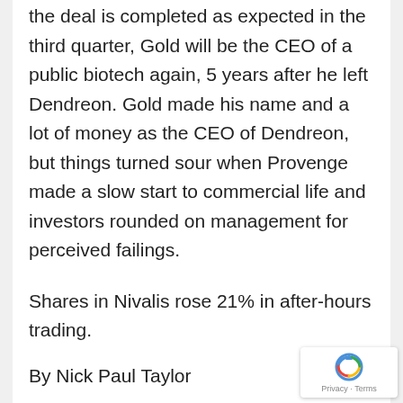the deal is completed as expected in the third quarter, Gold will be the CEO of a public biotech again, 5 years after he left Dendreon. Gold made his name and a lot of money as the CEO of Dendreon, but things turned sour when Provenge made a slow start to commercial life and investors rounded on management for perceived failings.
Shares in Nivalis rose 21% in after-hours trading.
By Nick Paul Taylor